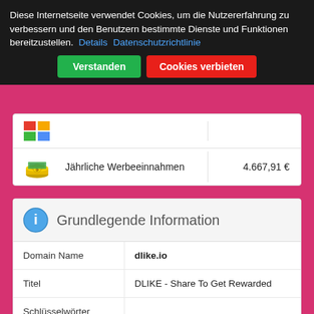Diese Internetseite verwendet Cookies, um die Nutzererfahrung zu verbessern und den Benutzern bestimmte Dienste und Funktionen bereitzustellen. Details Datenschutzrichtlinie
Verstanden | Cookies verbieten
|  | Label | Value |
| --- | --- | --- |
| [icon] | Jährliche Werbeeinnahmen | 4.667,91 € |
Grundlegende Information
| Field | Value |
| --- | --- |
| Domain Name | dlike.io |
| Titel | DLIKE - Share To Get Rewarded |
| Schlüsselwörter |  |
| Beschreibung | Dlike is a blockchain based dApp where you share links from your own blog articles or an |